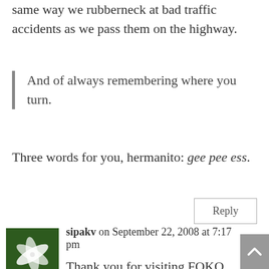same way we rubberneck at bad traffic accidents as we pass them on the highway.
And of always remembering where you turn.
Three words for you, hermanito: gee pee ess.
Reply
sipakv on September 22, 2008 at 7:17 pm
Thank you for visiting FOKO, David. For the duration of your post, I imagined myself a teenager again and sauntering the streets of Antananarivo, although I never